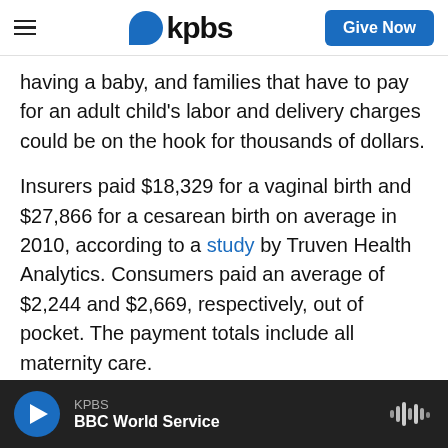kpbs | Give Now
having a baby, and families that have to pay for an adult child's labor and delivery charges could be on the hook for thousands of dollars.
Insurers paid $18,329 for a vaginal birth and $27,866 for a cesarean birth on average in 2010, according to a study by Truven Health Analytics. Consumers paid an average of $2,244 and $2,669, respectively, out of pocket. The payment totals include all maternity care.
Hospitalization made up between 81 and 86 percent of the total cost of pregnancy and
KPBS | BBC World Service